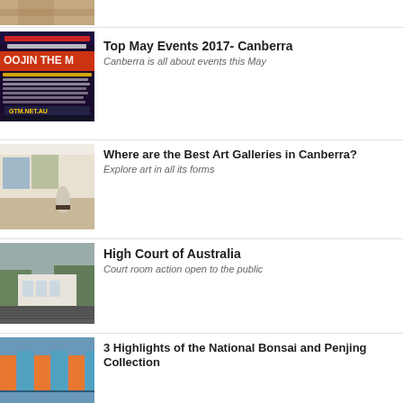[Figure (photo): Partial view of a classical sculpture/artwork image at top]
[Figure (photo): Event poster for 'Down the M' GTM.NET.AU music festival Canberra May 2017]
Top May Events 2017- Canberra
Canberra is all about events this May
[Figure (photo): Interior of an art gallery with white walls, sculptures on display]
Where are the Best Art Galleries in Canberra?
Explore art in all its forms
[Figure (photo): Exterior of the High Court of Australia building with trees]
High Court of Australia
Court room action open to the public
[Figure (photo): Architectural detail of National Bonsai and Penjing Collection building roof]
3 Highlights of the National Bonsai and Penjing Collection